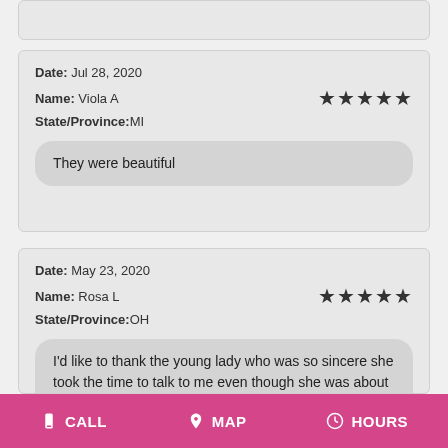(partial card top cropped)
Date: Jul 28, 2020
Name: Viola A
State/Province: MI
★★★★★
They were beautiful
Date: May 23, 2020
Name: Rosa L
State/Province: OH
★★★★★
I'd like to thank the young lady who was so sincere she took the time to talk to me even though she was about to close, she also directed me kindly on what flowers to send for the situation I had. Sweetheart I
CALL   MAP   HOURS